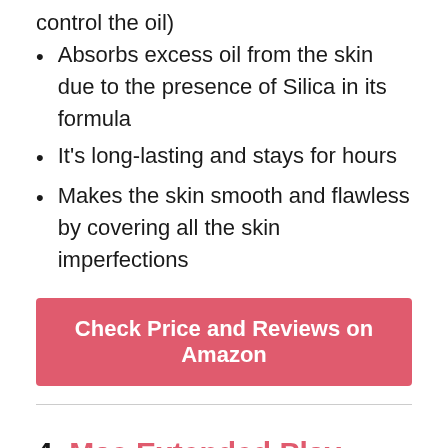control the oil)
Absorbs excess oil from the skin due to the presence of Silica in its formula
It's long-lasting and stays for hours
Makes the skin smooth and flawless by covering all the skin imperfections
Check Price and Reviews on Amazon
4. Mac Extended Play Gigablack Lash Mascara